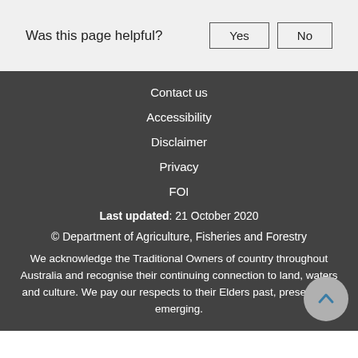Was this page helpful?
Yes
No
Contact us
Accessibility
Disclaimer
Privacy
FOI
Last updated: 21 October 2020
© Department of Agriculture, Fisheries and Forestry
We acknowledge the Traditional Owners of country throughout Australia and recognise their continuing connection to land, waters and culture. We pay our respects to their Elders past, present and emerging.